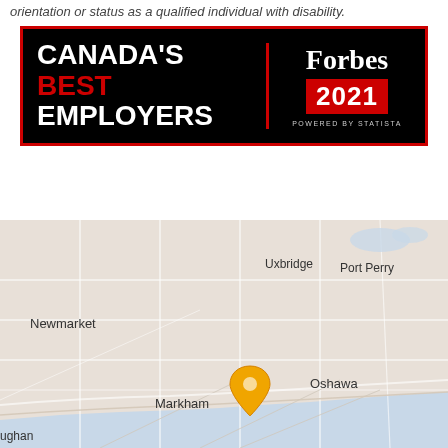orientation or status as a qualified individual with disability.
[Figure (logo): Forbes Canada's Best Employers 2021 badge - black background with red border, text 'CANADA'S BEST EMPLOYERS' in white and red, Forbes logo and 2021 in red box, 'Powered by Statista' text]
[Figure (map): Google Maps style map showing the Greater Toronto Area region including Newmarket, Uxbridge, Port Perry, Markham, Oshawa, and a location pin marker near the Lake Ontario shoreline between Markham and Oshawa]